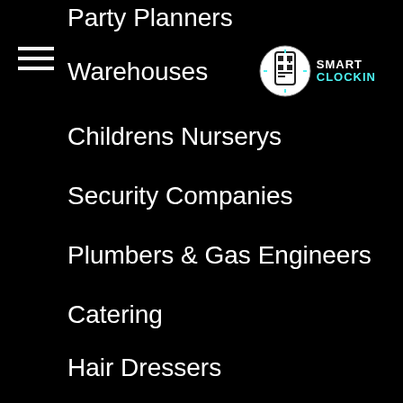[Figure (logo): Smart ClockIn logo with circular phone/QR code icon and SMART CLOCKIN text]
Party Planners
Warehouses
Childrens Nurserys
Security Companies
Plumbers & Gas Engineers
Catering
Hair Dressers
Beauty Salons & Spas
Coffee Shops
Cafes
Nail Bars
Tanning Salons
Clothes Shops
Retail Shops